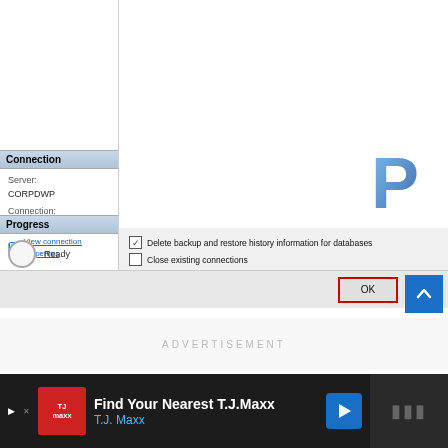[Figure (screenshot): SQL Server Management Studio dialog screenshot showing a database deletion/detach dialog. Left panel shows Connection section with Server: CORPDWP and Connection: PRAJWAL\sccmadmin, and a View connection properties link. Below is a Progress section showing Ready status. Right panel shows a large white content area with a P logo watermark. Checkboxes at bottom: checked 'Delete backup and restore history information for databases', unchecked 'Close existing connections'. An OK button is highlighted with a red border.]
ADVERTISEMENT
Find Your Nearest T.J.Maxx
T.J. Maxx